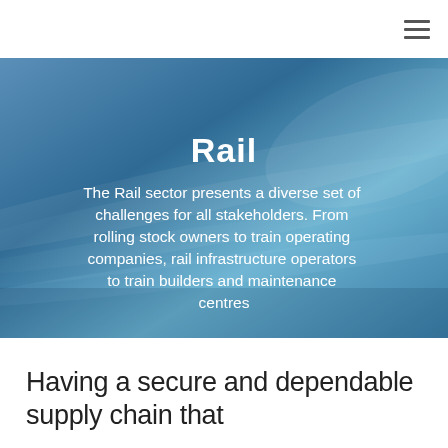≡
[Figure (photo): Blue abstract motion/speed background image suggesting a train in motion, with blurred streaks of blue and light. Overlaid with centered white text: title 'Rail' and descriptive paragraph.]
Rail
The Rail sector presents a diverse set of challenges for all stakeholders. From rolling stock owners to train operating companies, rail infrastructure operators to train builders and maintenance centres
Having a secure and dependable supply chain that